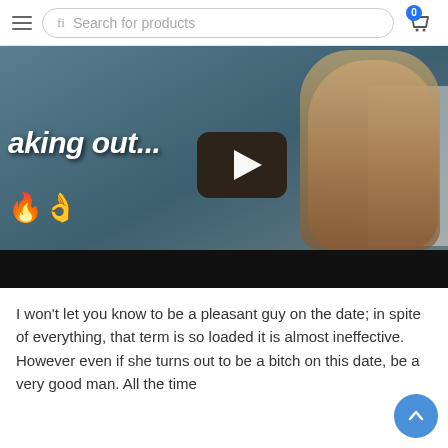Search for products | Cart (0)
[Figure (screenshot): Video thumbnail showing a young woman with long hair looking down, with text 'aking out...' and fire and OK hand emojis overlaid. A YouTube-style play button is visible in the center. The video has a black bottom bar.]
I won't let you know to be a pleasant guy on the date; in spite of everything, that term is so loaded it is almost ineffective. However even if she turns out to be a bitch on this date, be a very good man. All the time